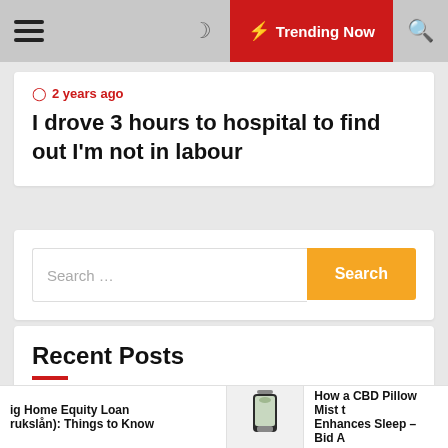☰  ☽  ⚡ Trending Now  🔍
⏱ 2 years ago
I drove 3 hours to hospital to find out I'm not in labour
Search ...
Recent Posts
Getting Home Equity Loan (Forbrukslån): Things to Know
ig Home Equity Loan (rukslån): Things to Know  |  How a CBD Pillow Mist Enhances Sleep – Bid A